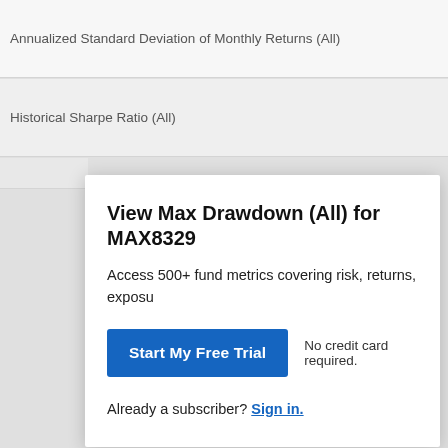Annualized Standard Deviation of Monthly Returns (All)
Historical Sharpe Ratio (All)
View Max Drawdown (All) for MAX8329
Access 500+ fund metrics covering risk, returns, exposu
Start My Free Trial
No credit card required.
Already a subscriber? Sign in.
7 Retirement Income Strategies Once Your Portfolio Reaches $500k  Fisher I
This credit card is so good, I signed up personally  The Ascent